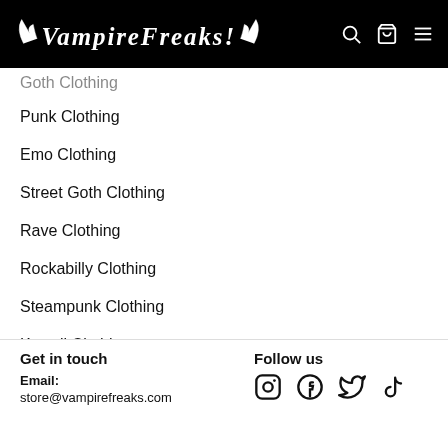VampireFreaks
Goth Clothing (partial)
Punk Clothing
Emo Clothing
Street Goth Clothing
Rave Clothing
Rockabilly Clothing
Steampunk Clothing
Kawaii Clothing
Mall Goth Clothing
Occult & Witchcraft
Get in touch
Email: store@vampirefreaks.com
Follow us